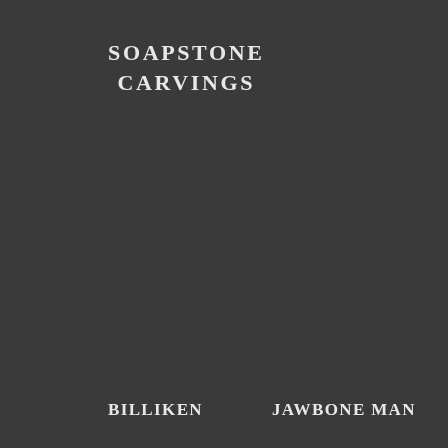SOAPSTONE CARVINGS
BILLIKEN
JAWBONE MAN